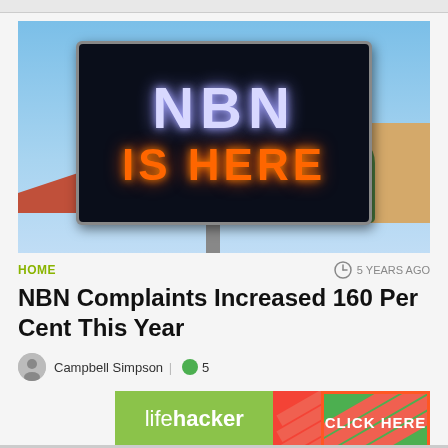[Figure (photo): Photo of an LED dot-matrix sign displaying 'NBN IS HERE' in a suburban street setting with a red-tiled roof house and trees in the background against a blue sky.]
HOME
5 YEARS AGO
NBN Complaints Increased 160 Per Cent This Year
Campbell Simpson | 5
[Figure (other): Lifehacker advertisement banner with green background and 'CLICK HERE' button]